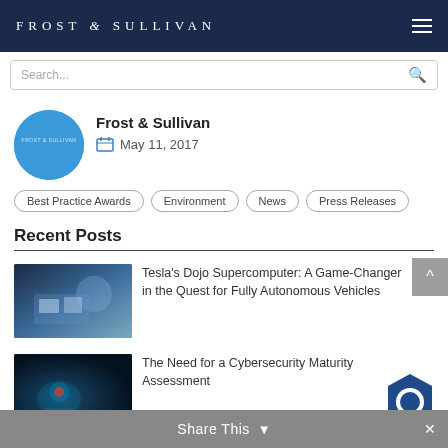FROST & SULLIVAN
Search...
Frost & Sullivan
May 11, 2017
Best Practice Awards
Environment
News
Press Releases
Recent Posts
Tesla's Dojo Supercomputer: A Game-Changer in the Quest for Fully Autonomous Vehicles
The Need for a Cybersecurity Maturity Assessment
Share This